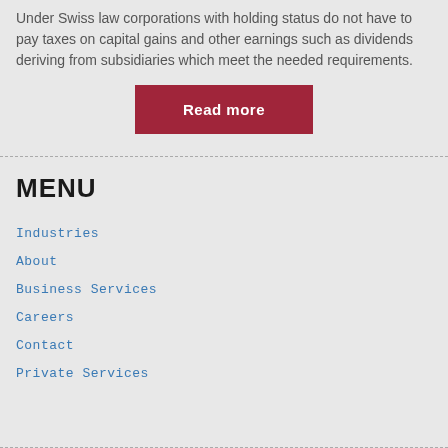Under Swiss law corporations with holding status do not have to pay taxes on capital gains and other earnings such as dividends deriving from subsidiaries which meet the needed requirements.
[Figure (other): Red 'Read more' button]
MENU
Industries
About
Business Services
Careers
Contact
Private Services